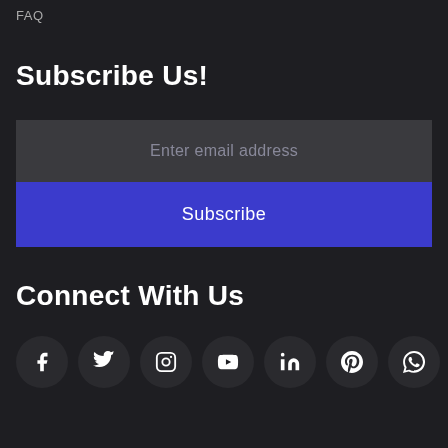FAQ
Subscribe Us!
Enter email address
Subscribe
Connect With Us
[Figure (infographic): Row of 8 circular social media icons: Facebook, Twitter, Instagram, YouTube, LinkedIn, Pinterest, WhatsApp, Email]